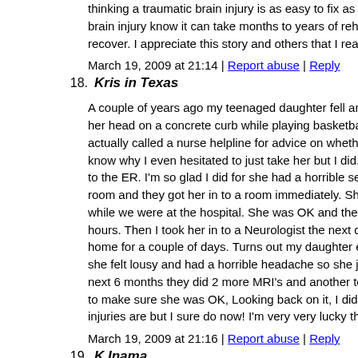thinking a traumatic brain injury is as easy to fix as a broken bone. Those of us who know someone with a brain injury know it can take months to years of rehabilitation to recover. I appreciate this story and others that I read because h
March 19, 2009 at 21:14 | Report abuse | Reply
18. Kris in Texas
A couple of years ago my teenaged daughter fell and was knocked her head on a concrete curb while playing basketball. Her friends actually called a nurse helpline for advice on whether to take h know why I even hesitated to just take her but I did. They said to the ER. I'm so glad I did for she had a horrible seizure while room and they got her in to a room immediately. She had an M while we were at the hospital. She was OK and they let us leav hours. Then I took her in to a Neurologist the next day and he home for a couple of days. Turns out my daughter ended up sp she felt lousy and had a horrible headache so she just rested an next 6 months they did 2 more MRI's and another test where th to make sure she was OK, Looking back on it, I didn't really re injuries are but I sure do now! I'm very very lucky that she was
March 19, 2009 at 21:16 | Report abuse | Reply
19. K Inama
My daughter suffered what I was told a minor head injury whe taken to doctor and was told to go home a rest. We followed up